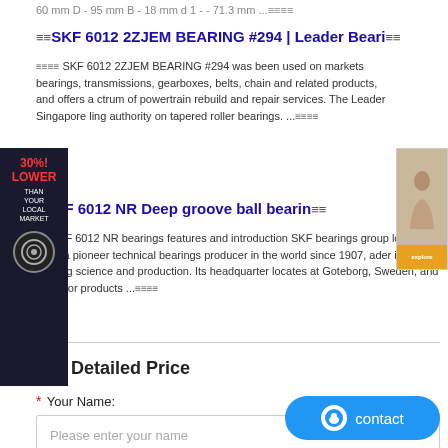60 mm D - 95 mm B - 18 mm d 1 - - 71.3 mm ... ≡ ≡ ≡ ≡
≡ ≡ SKF 6012 2ZJEM BEARING #294 | Leader Beari ≡ ≡
≡ ≡ ≡ ≡ SKF 6012 2ZJEM BEARING #294 was been used on markets bearings, transmissions, gearboxes, belts, chain and related products, and offers a ctrum of powertrain rebuild and repair services. The Leader Singapore ling authority on tapered roller bearings. ... ≡ ≡ ≡ ≡
≡ SKF 6012 NR Deep groove ball bearin ≡ ≡
≡ ≡ SKF 6012 NR bearings features and introduction SKF bearings group long been a pioneer technical bearings producer in the world since 1907, ader in bearing science and production. Its headquarter locates at Goteborg, Sweden, and its major products ... ≡ ≡ ≡ ≡
Get Detailed Price
* Your Name:
Please enter your name
* E-Mail Address: